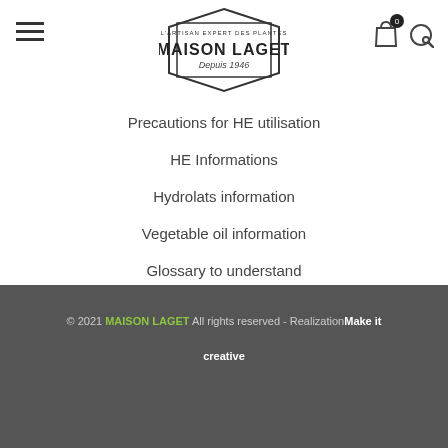[Figure (logo): Maison Laget logo - L'artisan expert des plantes, Depuis 1946, with hexagonal border]
Precautions for HE utilisation
HE Informations
Hydrolats information
Vegetable oil information
Glossary to understand
[Figure (other): Social media icons: Facebook, Instagram, YouTube in circles]
© 2021 MAISON LAGET All rights reserved - Realization Make it creative